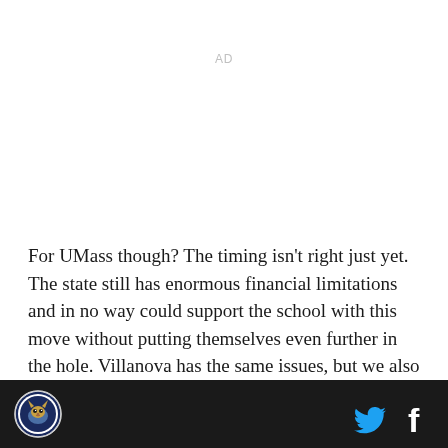AD
For UMass though? The timing isn't right just yet. The state still has enormous financial limitations and in no way could support the school with this move without putting themselves even further in the hole. Villanova has the same issues, but we also aren't supporting as large an infastructure as UMass.
[Figure (logo): Circular logo with a wildcat mascot, dark blue border, white and navy design]
[Figure (logo): Twitter bird icon in cyan/blue]
[Figure (logo): Facebook 'f' icon in white]